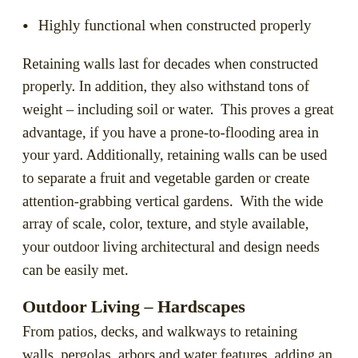Highly functional when constructed properly
Retaining walls last for decades when constructed properly. In addition, they also withstand tons of weight – including soil or water.  This proves a great advantage, if you have a prone-to-flooding area in your yard.  Additionally, retaining walls can be used to separate a fruit and vegetable garden or create attention-grabbing vertical gardens.  With the wide array of scale, color, texture, and style available, your outdoor living architectural and design needs can be easily met.
Outdoor Living – Hardscapes
From patios, decks, and walkways to retaining walls, pergolas, arbors and water features, adding an outdoor living hardscape to your landscape will increase your home's value and improve the aesthetic appeal.  For all of your